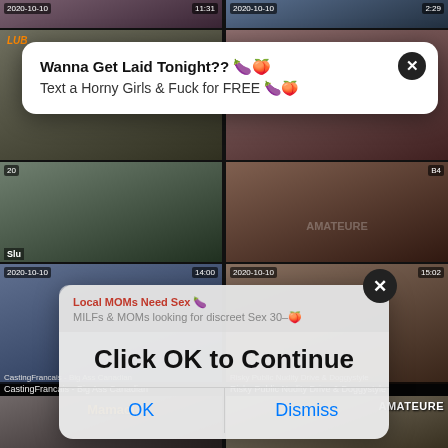[Figure (screenshot): Video thumbnail grid showing adult content website with two overlapping popup ads. Top popup is a notification-style white card reading 'Wanna Get Laid Tonight?? Text a Horny Girls & Fuck for FREE'. Center popup is a system-dialog styled overlay reading 'Click OK to Continue' with OK and Dismiss buttons. Thumbnails show video titles including 'CastingFrancais - Big Ass Canadian' and 'Risky Public Nudity Drive & Doggystyle' with timestamps 2020-10-10, durations 11:31, 2:29, 14:00, 15:02 etc.]
Wanna Get Laid Tonight?? 🍆🍑
Text a Horny Girls & Fuck for FREE 🍆🍑
Click OK to Continue
OK
Dismiss
CastingFrancais - Big Ass Canadian
Risky Public Nudity Drive & Doggystyle